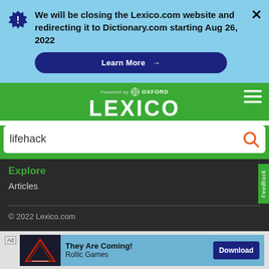We will be closing the Lexico.com website and redirecting it to Dictionary.com starting Aug 26, 2022
Learn More →
[Figure (logo): Lexico powered by Oxford logo with LEXICO text in white on green background]
lifehack
Explore
Articles
© 2022 Lexico.com
They Are Coming! Rollic Games Download